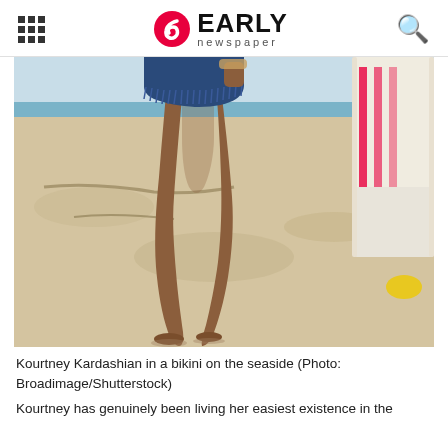EARLY newspaper
[Figure (photo): Person standing on a beach wearing denim cutoff shorts, showing legs from waist down, sandy beach and beach chair visible in background]
Kourtney Kardashian in a bikini on the seaside (Photo: Broadimage/Shutterstock)
Kourtney has genuinely been living her easiest existence in the